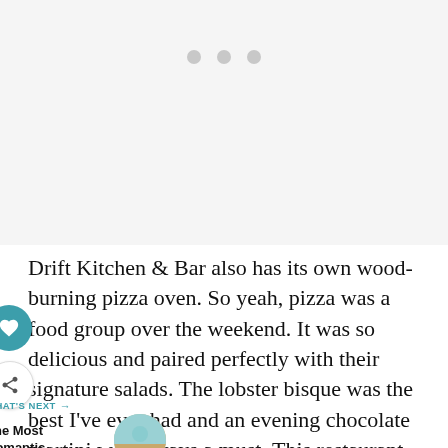[Figure (other): Gray placeholder area with three gray dots centered near the top, representing a loading or ad placeholder region]
Drift Kitchen & Bar also has its own wood-burning pizza oven. So yeah, pizza was a food group over the weekend. It was so delicious and paired perfectly with their signature salads. The lobster bisque was the best I've ever had and an evening chocolate martini was always a must. This restaurant